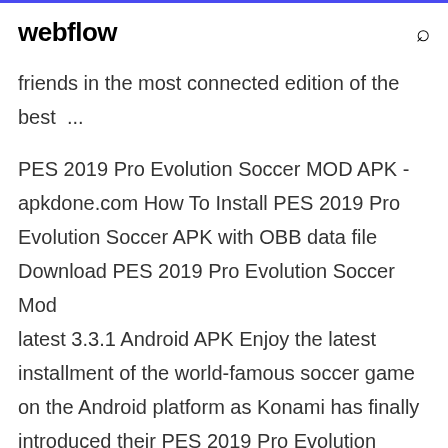webflow
friends in the most connected edition of the best  ...
PES 2019 Pro Evolution Soccer MOD APK - apkdone.com How To Install PES 2019 Pro Evolution Soccer APK with OBB data file Download PES 2019 Pro Evolution Soccer Mod latest 3.3.1 Android APK Enjoy the latest installment of the world-famous soccer game on the Android platform as Konami has finally introduced their PES 2019 Pro Evolution Soccer . Download PRO EVOLUTION SOCCER (PES 2018) APK Latest Version - apkpure.com PES is for Android 5.0+ and it is an onlinegame. Make sure you are in stable internet connection when